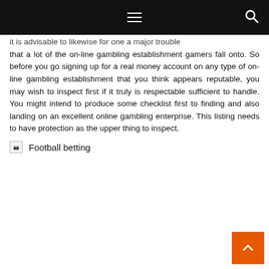[navigation bar with menu and search icons]
it is advisable to likewise for one a major trouble that a lot of the on-line gambling establishment gamers fall onto. So before you go signing up for a real money account on any type of on-line gambling establishment that you think appears reputable, you may wish to inspect first if it truly is respectable sufficient to handle. You might intend to produce some checklist first to finding and also landing on an excellent online gambling enterprise. This listing needs to have protection as the upper thing to inspect.
Football betting